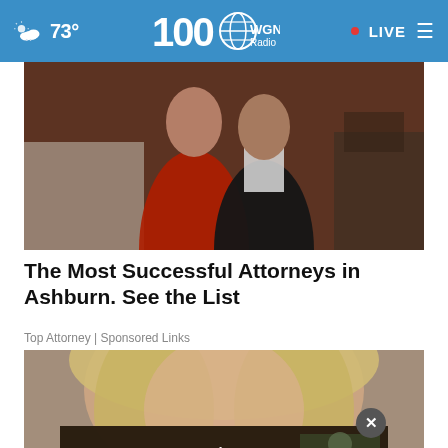73° WGN Radio • LIVE
[Figure (photo): A couple at a formal event, woman in red dress and man in black tuxedo, banquet hall setting]
The Most Successful Attorneys in Ashburn. See the List
Top Attorney | Sponsored Links
[Figure (photo): Close-up of a blonde woman's face, partially obscured]
[Figure (photo): Veterans advertisement banner: Veterans, you're not alone.]